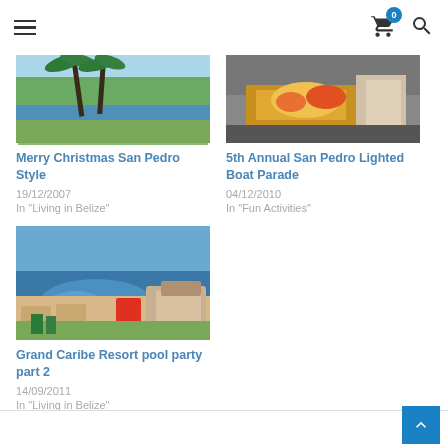Navigation menu, cart (0), search
[Figure (photo): Beach scene with palm trees and ocean, Belize]
Merry Christmas San Pedro Style
19/12/2007
In "Living in Belize"
[Figure (photo): Food dish being prepared, close-up of colorful meal]
5th Annual San Pedro Lighted Boat Parade
04/12/2010
In "Fun Activities"
[Figure (photo): Aerial view of Grand Caribe Resort pool area with ocean backdrop]
Grand Caribe Resort pool party part 2
14/09/2011
In "Living in Belize"
Back to top button